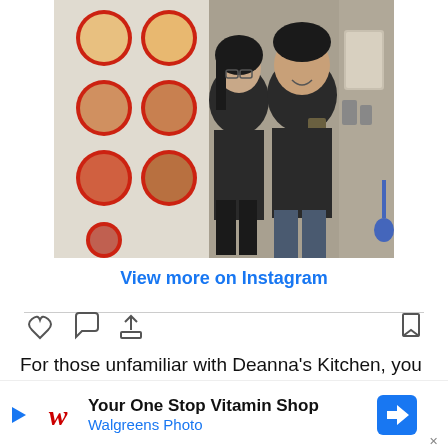[Figure (photo): Two people (a woman with glasses and a man in a dark t-shirt with pocket) standing in front of a food stall menu board showing prawn noodle dishes in red circular frames.]
View more on Instagram
For those unfamiliar with Deanna's Kitchen, you must know that it's probably one of the only few places in Singapore where you can try halal authentic Chinese prawn noodles. The broth for this d...k bone...
Your One Stop Vitamin Shop
Walgreens Photo